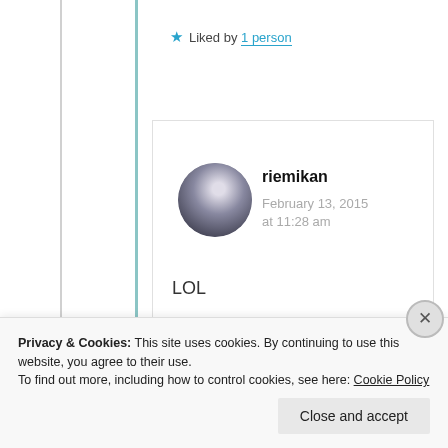Liked by 1 person
riemikan
February 13, 2015
at 11:28 am
LOL
Like
Privacy & Cookies: This site uses cookies. By continuing to use this website, you agree to their use.
To find out more, including how to control cookies, see here: Cookie Policy
Close and accept